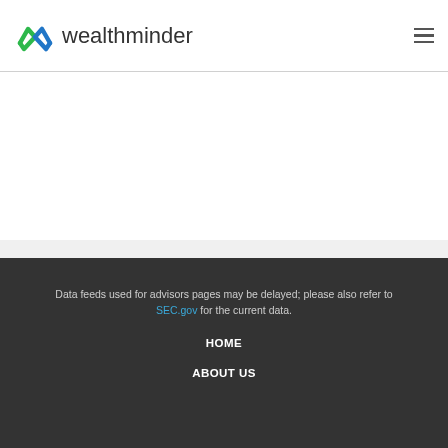wealthminder
Data feeds used for advisors pages may be delayed; please also refer to SEC.gov for the current data.
HOME
ABOUT US